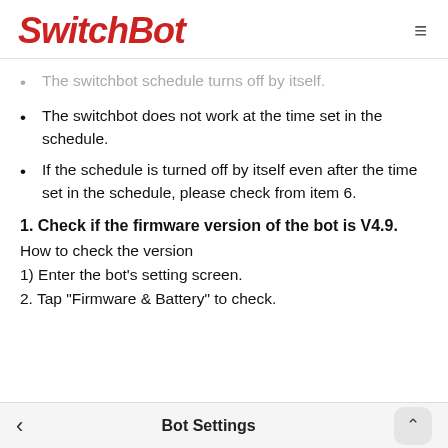SwitchBot
The switchbot schedule turns off by itself.
The switchbot does not work at the time set in the schedule.
If the schedule is turned off by itself even after the time set in the schedule, please check from item 6.
1. Check if the firmware version of the bot is V4.9.
How to check the version
1) Enter the bot's setting screen.
2. Tap "Firmware & Battery" to check.
Bot Settings